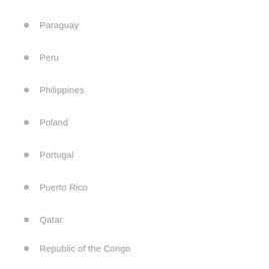Paraguay
Peru
Philippines
Poland
Portugal
Puerto Rico
Qatar
Republic of the Congo
Romania